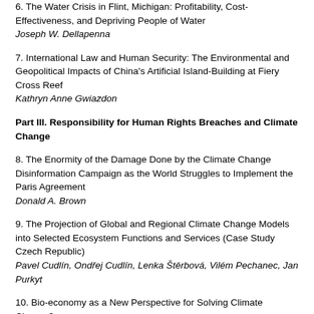6. The Water Crisis in Flint, Michigan: Profitability, Cost-Effectiveness, and Depriving People of Water
Joseph W. Dellapenna
7. International Law and Human Security: The Environmental and Geopolitical Impacts of China's Artificial Island-Building at Fiery Cross Reef
Kathryn Anne Gwiazdon
Part III. Responsibility for Human Rights Breaches and Climate Change
8. The Enormity of the Damage Done by the Climate Change Disinformation Campaign as the World Struggles to Implement the Paris Agreement
Donald A. Brown
9. The Projection of Global and Regional Climate Change Models into Selected Ecosystem Functions and Services (Case Study Czech Republic)
Pavel Cudlín, Ondřej Cudlín, Lenka Štěrbová, Vilém Pechanec, Jan Purkyt
10. Bio-economy as a New Perspective for Solving Climate Change?